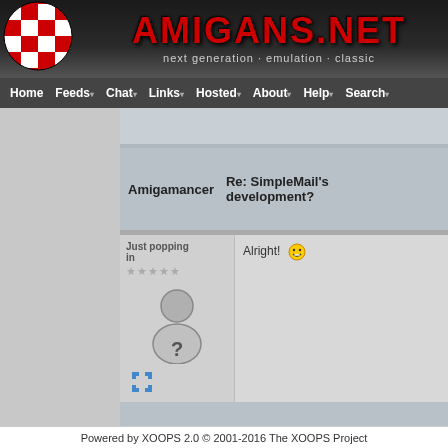[Figure (screenshot): Amigans.net website header with red checkered ball logo on left, red AMIGANS.NET text, and tagline 'next generation · emulation · classic' on dark background]
Home  Feeds  Chat  Links  Hosted  About  Help  Search
Amigamancer  Re: SimpleMail's development?
Just popping in
Alright! 😁
jahc  Re: SimpleMail's development?
Powered by XOOPS 2.0 © 2001-2016 The XOOPS Project